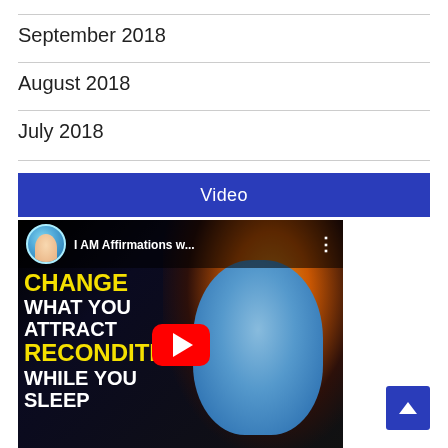September 2018
August 2018
July 2018
Video
[Figure (screenshot): YouTube video thumbnail for 'I AM Affirmations w...' showing text overlays: CHANGE WHAT YOU ATTRACT RECONDITION WHILE YOU SLEEP, with a glowing brain image and a blue humanoid face. Red YouTube play button in center.]